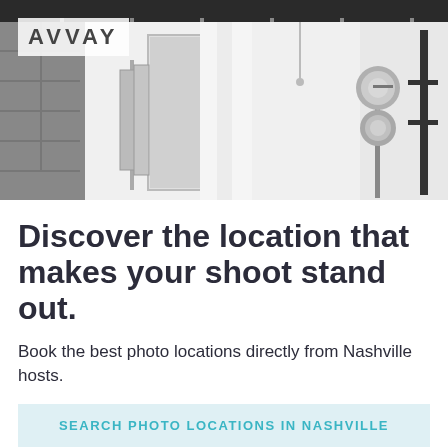[Figure (photo): Interior of a photography studio with white walls, white curtains, photography lighting equipment on stands, and textured concrete blocks on the left side. A dark ceiling bar is visible at the top.]
Discover the location that makes your shoot stand out.
Book the best photo locations directly from Nashville hosts.
SEARCH PHOTO LOCATIONS IN NASHVILLE